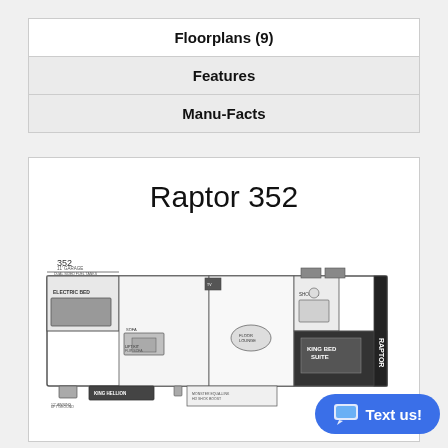Floorplans (9)
Features
Manu-Facts
Raptor 352
[Figure (engineering-diagram): Floor plan diagram of the Raptor 352 RV showing interior layout including king bed suite, electric bed, kitchen, living area, bathroom, and bunk areas. Label '352' appears in the upper-left of the diagram.]
Text us!